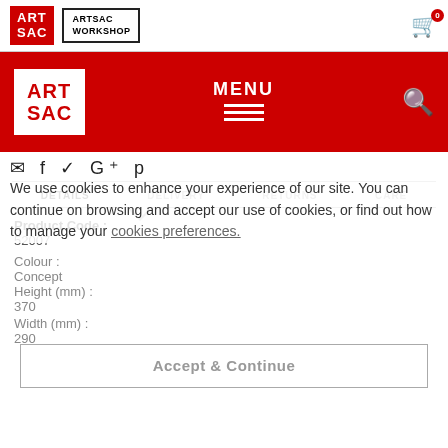ARTSAC | ARTSAC WORKSHOP
[Figure (logo): ART SAC red logo and ARTSAC WORKSHOP navigation bar with cart icon showing 0 items]
[Figure (logo): ART SAC white-on-red logo with MENU navigation and search icon on red background]
social icons row
DETAILS   DELIVERY   RETURNS   CARE
Product Code :
52007
Colour :
Concept
Height (mm) :
370
Width (mm) :
290
Depth (mm) :
120
Weight (kg) :
We use cookies to enhance your experience of our site. You can continue on browsing and accept our use of cookies, or find out how to manage your cookies preferences.
Accept & Continue